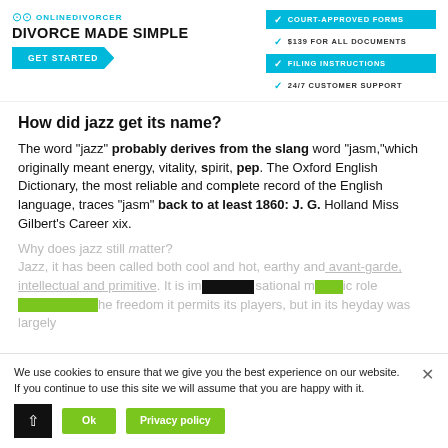[Figure (logo): OnlineDivorcer logo with 'DIVORCE MADE SIMPLE' tagline and GET STARTED button and badge list]
How did jazz get its name?
The word "jazz" probably derives from the slang word "jasm,"which originally meant energy, vitality, spirit, pep. The Oxford English Dictionary, the most reliable and complete record of the English language, traces "jasm" back to at least 1860: J. G. Holland Miss Gilbert's Career xix.
Why does jazz still matter? Jazz, it has been called both cool and hot, earthy and avant-garde, intellectual and primitive. It is improvisational music noted for the freedom it permits its players, but in its heyday was largely
We use cookies to ensure that we give you the best experience on our website. If you continue to use this site we will assume that you are happy with it.
Ok   Privacy policy